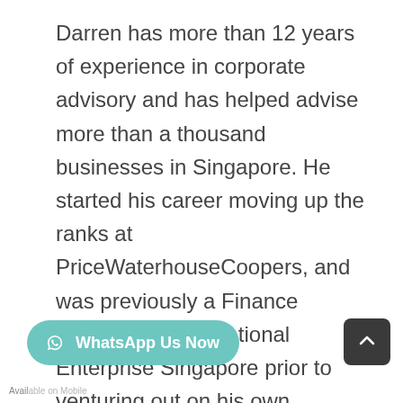Darren has more than 12 years of experience in corporate advisory and has helped advise more than a thousand businesses in Singapore. He started his career moving up the ranks at PriceWaterhouseCoopers, and was previously a Finance Manager at International Enterprise Singapore prior to venturing out on his own.

Darren also gets a huge kick when he has clients walking up to him with a sm..l am happy when I hear my clients say that